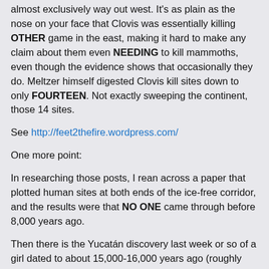almost exclusively way out west. It's as plain as the nose on your face that Clovis was essentially killing OTHER game in the east, making it hard to make any claim about them even NEEDING to kill mammoths, even though the evidence shows that occasionally they do. Meltzer himself digested Clovis kill sites down to only FOURTEEN. Not exactly sweeping the continent, those 14 sites.
See http://feet2thefire.wordpress.com/
One more point:
In researching those posts, I rean across a paper that plotted human sites at both ends of the ice-free corridor, and the results were that NO ONE came through before 8,000 years ago.
Then there is the Yucatán discovery last week or so of a girl dated to about 15,000-16,000 years ago (roughly calibrated by ME based on the C14 dates), which actually EXTENDS the human-mammoth overlap period by at least 2,000 years. So Meltzer's "They came out of the West, Pardner!" meme is just silly. Outdated at the least.
The western focus on Clovis man is wrong-headed. Clovis sites were 90%+ in the East. Bounded by Texas in the west and mostly by the Ohio River in the north. Don't take either too literally, though.